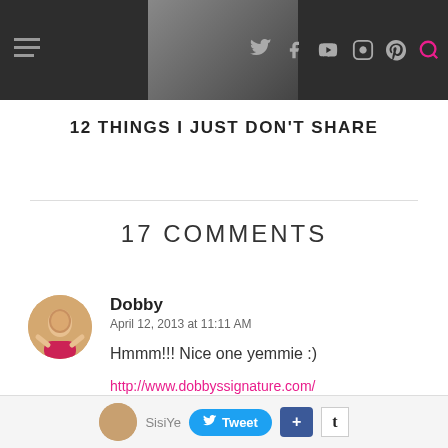Navigation bar with hamburger menu and social icons
12 THINGS I JUST DON'T SHARE
17 COMMENTS
Dobby
April 12, 2013 at 11:11 AM
Hmmm!!! Nice one yemmie :)
http://www.dobbyssignature.com/
SisiYe... Tweet +  t